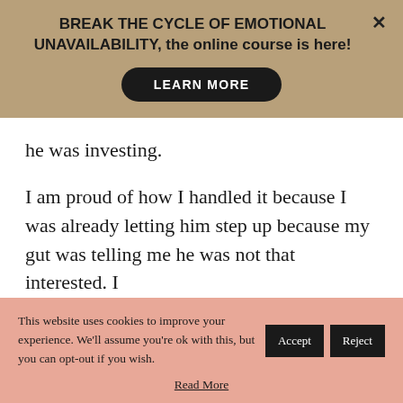BREAK THE CYCLE OF EMOTIONAL UNAVAILABILITY, the online course is here!
he was investing.
I am proud of how I handled it because I was already letting him step up because my gut was telling me he was not that interested. I
This website uses cookies to improve your experience. We'll assume you're ok with this, but you can opt-out if you wish.
Read More